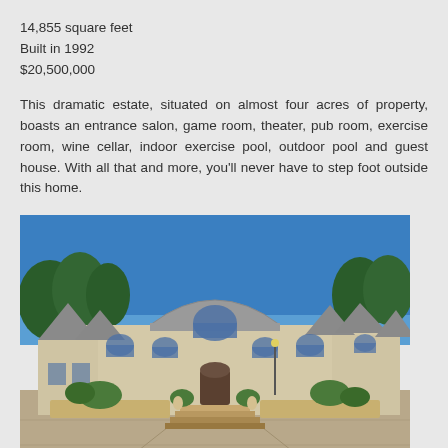14,855 square feet
Built in 1992
$20,500,000
This dramatic estate, situated on almost four acres of property, boasts an entrance salon, game room, theater, pub room, exercise room, wine cellar, indoor exercise pool, outdoor pool and guest house. With all that and more, you'll never have to step foot outside this home.
[Figure (photo): Exterior photo of a large luxury estate home with stone facade, multiple arched windows, steep grey roof, grand entrance staircase, lush landscaping, and a wide paved driveway in the foreground under a bright blue sky.]